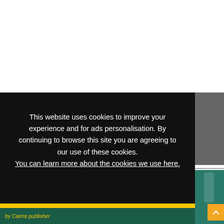[Figure (screenshot): White background area at the top of the page representing a website screenshot]
This website uses cookies to improve your experience and for ads personalisation. By continuing to browse this site you are agreeing to our use of these cookies. You can learn more about the cookies we use here.
OK